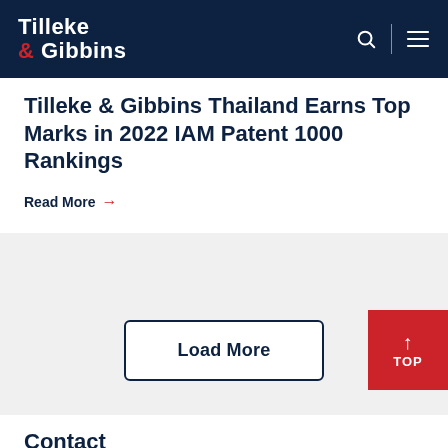Tilleke & Gibbins
Tilleke & Gibbins Thailand Earns Top Marks in 2022 IAM Patent 1000 Rankings
Read More →
Load More
Contact
We have seven offices in six countries across Southeast Asia